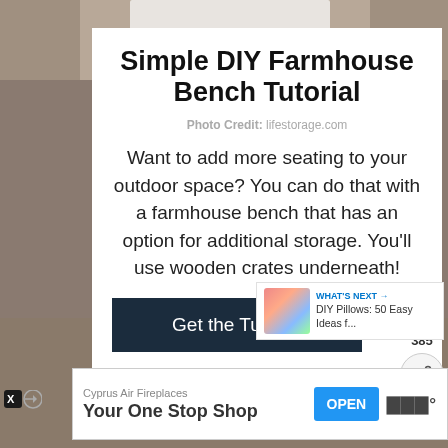[Figure (photo): Background photo of a farmhouse bench, partially visible at the top of the page]
Simple DIY Farmhouse Bench Tutorial
Photo Credit: lifestorage.com
Want to add more seating to your outdoor space? You can do that with a farmhouse bench that has an option for additional storage. You'll use wooden crates underneath!
Get the Tutorial
385
WHAT'S NEXT → DIY Pillows: 50 Easy Ideas f...
Cyprus Air Fireplaces
Your One Stop Shop
OPEN